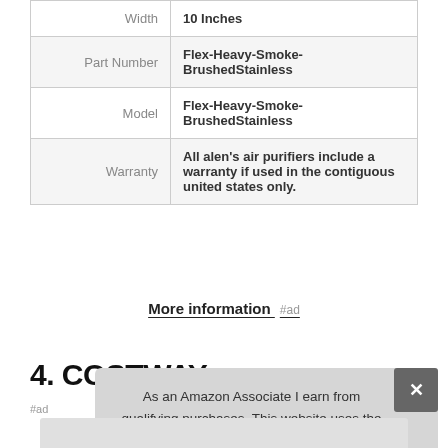| Width | 10 Inches |
| Part Number | Flex-Heavy-Smoke-BrushedStainless |
| Model | Flex-Heavy-Smoke-BrushedStainless |
| Warranty | All alen's air purifiers include a warranty if used in the contiguous united states only. |
More information #ad
4. COSTWAY
#ad
As an Amazon Associate I earn from qualifying purchases. This website uses the only necessary cookies to ensure you get the best experience on our website. More information